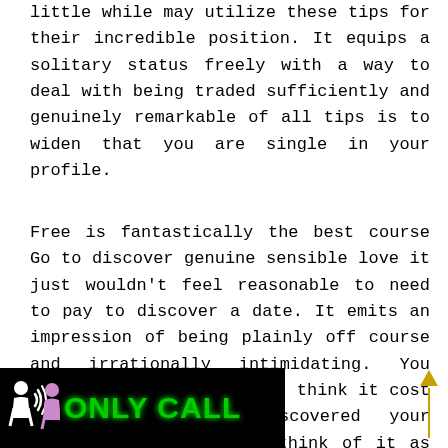little while may utilize these tips for their incredible position. It equips a solitary status freely with a way to deal with being traded sufficiently and genuinely remarkable of all tips is to widen that you are single in your profile.
Free is fantastically the best course Go to discover genuine sensible love it just wouldn't feel reasonable to need to pay to discover a date. It emits an impression of being plainly off course and irrationally intimidating. You would slant toward not to think it cost you connote have discovered your affection. You need to think of it as the manner in which does it relate to occur through destiny and nt time, lovemaking is
[Figure (logo): Black banner with figure icons and green text reading ONLY CALL]